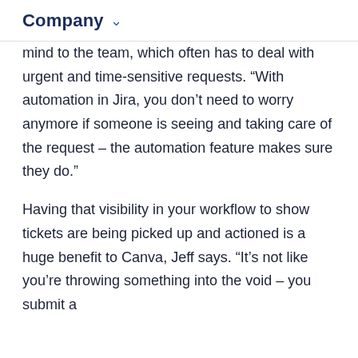Company
mind to the team, which often has to deal with urgent and time-sensitive requests. “With automation in Jira, you don’t need to worry anymore if someone is seeing and taking care of the request – the automation feature makes sure they do.”
Having that visibility in your workflow to show tickets are being picked up and actioned is a huge benefit to Canva, Jeff says. “It’s not like you’re throwing something into the void – you submit a